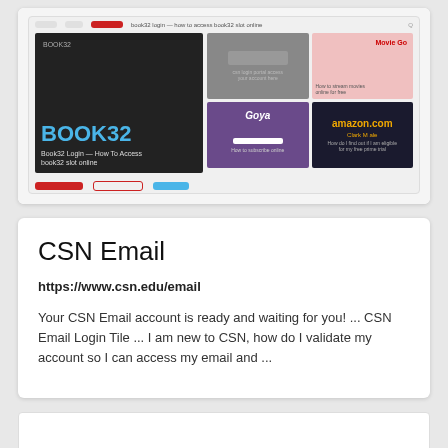[Figure (screenshot): Screenshot of a search result card showing a website thumbnail with BOOK32 branding, including a dark tile with blue BOOK32 text and surrounding image tiles.]
CSN Email
https://www.csn.edu/email
Your CSN Email account is ready and waiting for you! ... CSN Email Login Tile ... I am new to CSN, how do I validate my account so I can access my email and ...
[Figure (screenshot): Empty white card/preview area at the bottom of the page.]